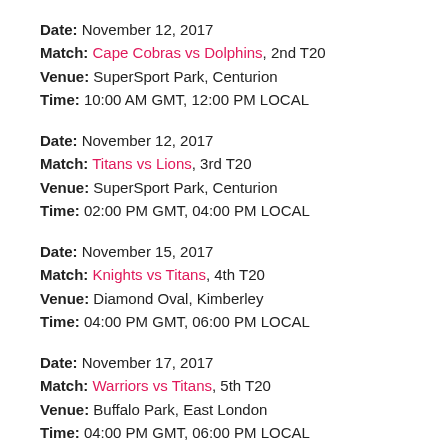Date: November 12, 2017
Match: Cape Cobras vs Dolphins, 2nd T20
Venue: SuperSport Park, Centurion
Time: 10:00 AM GMT, 12:00 PM LOCAL
Date: November 12, 2017
Match: Titans vs Lions, 3rd T20
Venue: SuperSport Park, Centurion
Time: 02:00 PM GMT, 04:00 PM LOCAL
Date: November 15, 2017
Match: Knights vs Titans, 4th T20
Venue: Diamond Oval, Kimberley
Time: 04:00 PM GMT, 06:00 PM LOCAL
Date: November 17, 2017
Match: Warriors vs Titans, 5th T20
Venue: Buffalo Park, East London
Time: 04:00 PM GMT, 06:00 PM LOCAL